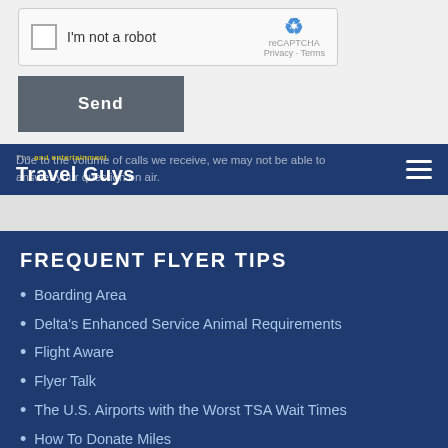[Figure (screenshot): reCAPTCHA checkbox widget with 'I'm not a robot' label and reCAPTCHA branding on right]
[Figure (screenshot): Send button, dark gray/slate colored]
The Travel Guys and entertainment — navigation bar with logo and hamburger menu
FREQUENT FLYER TIPS
Boarding Area
Delta's Enhanced Service Animal Requirements
Flight Aware
Flyer Talk
The U.S. Airports with the Worst TSA Wait Times
How To Donate Miles
How to Pack Really (Truly) Light
Matrix Airfare Search